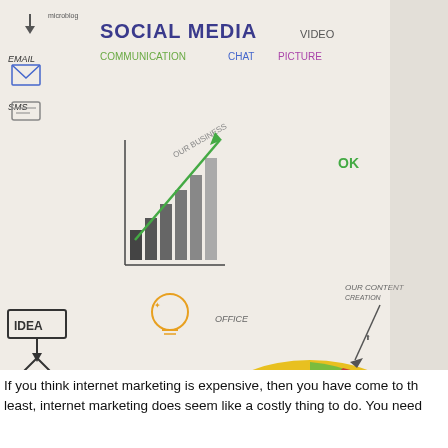[Figure (photo): A man in a white dress shirt viewed from behind, writing and drawing on a large whiteboard filled with colorful diagrams including social media icons, bar charts, line charts, pie charts, a business triangle diagram, flowcharts with 'IDEA', 'YES', 'TIME', 'MONEY', 'BUSINESS', 'QUALITY' labels, and the text 'SOCIAL MEDIA', 'VIDEO', 'COMMUNICATION', 'CHAT', 'PICTURE', '35%', 'OUR BUSINESS', 'DESIGN', 'MEDIA', 'SEARCH ENGINE', 'LOG' among other marketing concepts.]
If you think internet marketing is expensive, then you have come to th... least, internet marketing does seem like a costly thing to do. You need...